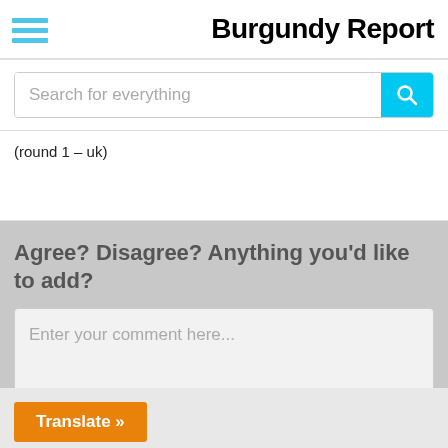Burgundy Report
[Figure (screenshot): Search bar with placeholder text 'Search for everything' and a cyan search button]
(round 1 – uk)
Agree? Disagree? Anything you'd like to add?
Enter your comment here...
Translate »